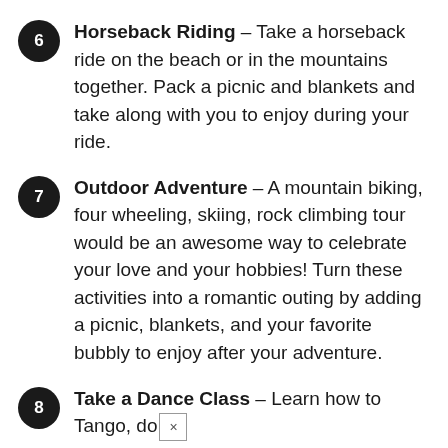6 Horseback Riding – Take a horseback ride on the beach or in the mountains together. Pack a picnic and blankets and take along with you to enjoy during your ride.
7 Outdoor Adventure – A mountain biking, four wheeling, skiing, rock climbing tour would be an awesome way to celebrate your love and your hobbies! Turn these activities into a romantic outing by adding a picnic, blankets, and your favorite bubbly to enjoy after your adventure.
8 Take a Dance Class – Learn how to Tango, do the Cha-Cha, or the swing by signing up for classes. Take your first class on your